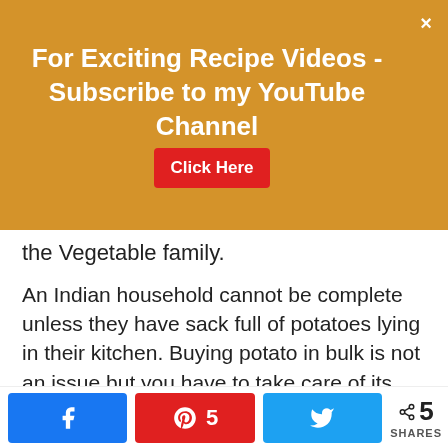[Figure (other): Orange/gold promotional banner: 'For Exciting Recipe Videos - Subscribe to my YouTube Channel' with a red 'Click Here' button and a close X button]
the Vegetable family.
An Indian household cannot be complete unless they have sack full of potatoes lying in their kitchen. Buying potato in bulk is not an issue but you have to take care of its freshness.
Under a certain state, potatoes develop shoots (sprouts) and contrary to some beliefs they can turn tasteless. You only want potatoes to sprout shortly before you
[Figure (other): Social share bar with Facebook button, Pinterest button with count 5, Twitter button, and total share count 5 SHARES]